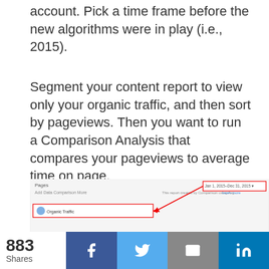account. Pick a time frame before the new algorithms were in play (i.e., 2015).
Segment your content report to view only your organic traffic, and then sort by pageviews. Then you want to run a Comparison Analysis that compares your pageviews to average time on page.
You'll see something like this:
[Figure (screenshot): Screenshot of a Google Analytics Pages report showing a comparison analysis, with a red arrow pointing to a date range selector labeled Jan 1, 2015–Dec 31, 2015, and another arrow pointing to a segment selector.]
[Figure (infographic): Social share bar showing 883 Shares, with buttons for Facebook, Twitter, Email, and LinkedIn]